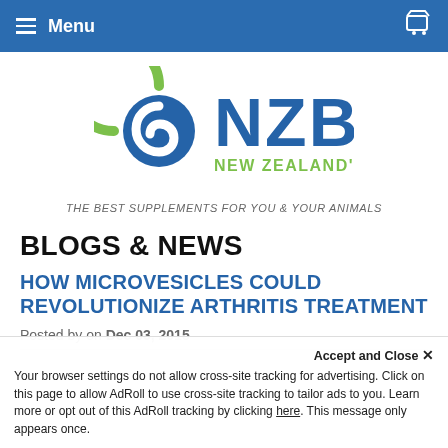≡ Menu
[Figure (logo): NZB New Zealand's Best logo with circular blue and green swirl icon and blue NZB lettering with green subtitle]
THE BEST SUPPLEMENTS FOR YOU & YOUR ANIMALS
BLOGS & NEWS
HOW MICROVESICLES COULD REVOLUTIONIZE ARTHRITIS TREATMENT
Posted by on Dec 03, 2015
Accept and Close ✕
Your browser settings do not allow cross-site tracking for advertising. Click on this page to allow AdRoll to use cross-site tracking to tailor ads to you. Learn more or opt out of this AdRoll tracking by clicking here. This message only appears once.